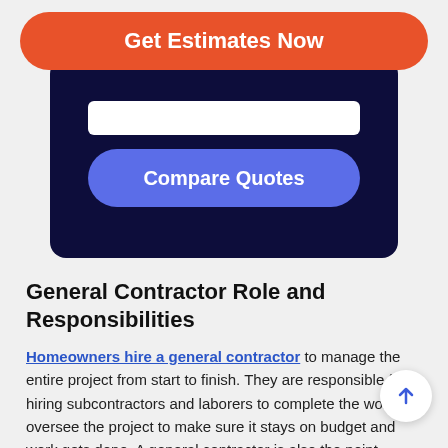[Figure (screenshot): Orange rounded button labeled 'Get Estimates Now']
[Figure (screenshot): Dark navy card with white input field and blue 'Compare Quotes' rounded button]
General Contractor Role and Responsibilities
Homeowners hire a general contractor to manage the entire project from start to finish. They are responsible for hiring subcontractors and laborers to complete the work oversee the project to make sure it stays on budget and work gets done. A general contractor is also the point person for the project, handling all communications with the